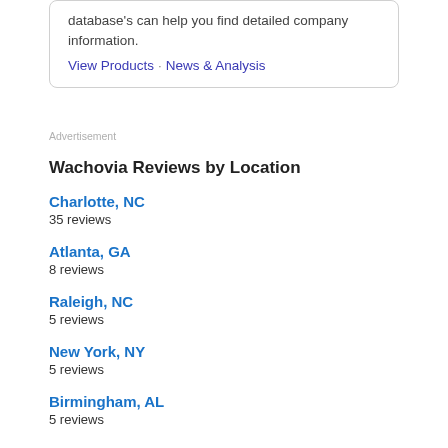database's can help you find detailed company information.
View Products · News & Analysis
Advertisement
Wachovia Reviews by Location
Charlotte, NC
35 reviews
Atlanta, GA
8 reviews
Raleigh, NC
5 reviews
New York, NY
5 reviews
Birmingham, AL
5 reviews